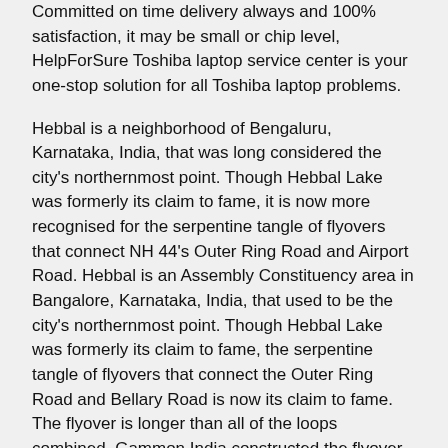Committed on time delivery always and 100% satisfaction, it may be small or chip level, HelpForSure Toshiba laptop service center is your one-stop solution for all Toshiba laptop problems.
Hebbal is a neighborhood of Bengaluru, Karnataka, India, that was long considered the city's northernmost point. Though Hebbal Lake was formerly its claim to fame, it is now more recognised for the serpentine tangle of flyovers that connect NH 44's Outer Ring Road and Airport Road. Hebbal is an Assembly Constituency area in Bangalore, Karnataka, India, that used to be the city's northernmost point. Though Hebbal Lake was formerly its claim to fame, the serpentine tangle of flyovers that connect the Outer Ring Road and Bellary Road is now its claim to fame. The flyover is longer than all of the loops combined. Gammon India constructed the flyover.
Easy way to get your Home Service Done